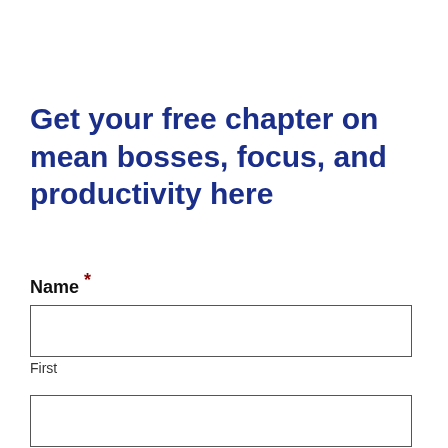Get your free chapter on mean bosses, focus, and productivity here
Name *
First
Last